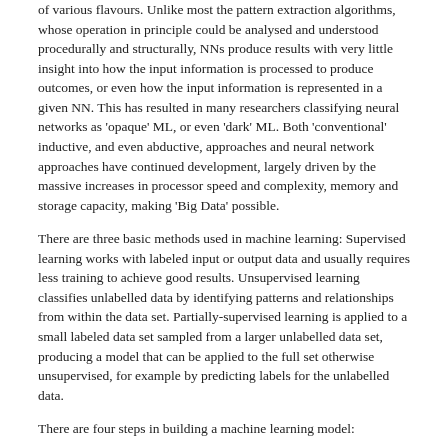of various flavours. Unlike most the pattern extraction algorithms, whose operation in principle could be analysed and understood procedurally and structurally, NNs produce results with very little insight into how the input information is processed to produce outcomes, or even how the input information is represented in a given NN. This has resulted in many researchers classifying neural networks as 'opaque' ML, or even 'dark' ML. Both 'conventional' inductive, and even abductive, approaches and neural network approaches have continued development, largely driven by the massive increases in processor speed and complexity, memory and storage capacity, making 'Big Data' possible.
There are three basic methods used in machine learning: Supervised learning works with labeled input or output data and usually requires less training to achieve good results. Unsupervised learning classifies unlabelled data by identifying patterns and relationships from within the data set. Partially-supervised learning is applied to a small labeled data set sampled from a larger unlabelled data set, producing a model that can be applied to the full set otherwise unsupervised, for example by predicting labels for the unlabelled data.
There are four steps in building a machine learning model:
1. Choose an appropriate algorithm to capture the relationship between...